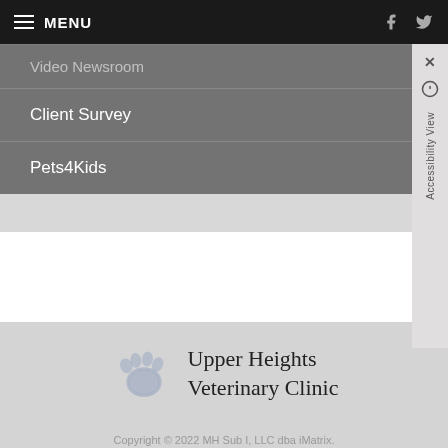MENU
Video Newsroom
Client Survey
Pets4Kids
[Figure (logo): Upper Heights Veterinary Clinic logo with paw print icon and clinic name text]
Copyright © 2022 MH Sub I, LLC dba iMatrix.
Admin Log In
Site Map